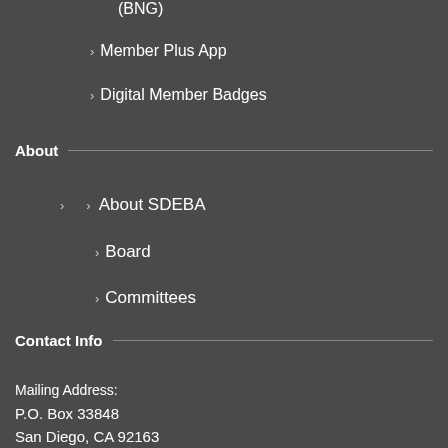(BNG)
Member Plus App
Digital Member Badges
About
About SDEBA
Board
Committees
Contact Us
Contact Info
Mailing Address:
P.O. Box 33848
San Diego, CA 92163